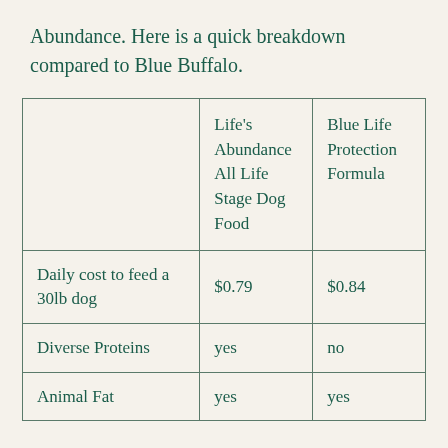Abundance. Here is a quick breakdown compared to Blue Buffalo.
|  | Life's Abundance All Life Stage Dog Food | Blue Life Protection Formula |
| --- | --- | --- |
| Daily cost to feed a 30lb dog | $0.79 | $0.84 |
| Diverse Proteins | yes | no |
| Animal Fat | yes | yes |